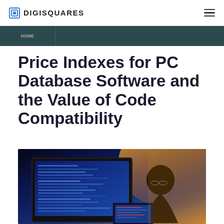DIGISQUARES
Price Indexes for PC Database Software and the Value of Code Compatibility
[Figure (photo): Person sitting at desk working on a large monitor displaying blue-toned code or software interface, with a laptop also visible, backlit by warm orange/yellow light from behind]